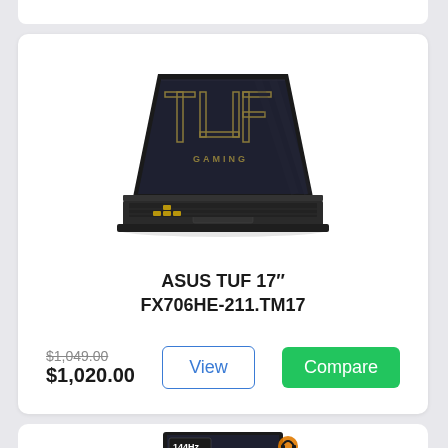[Figure (photo): ASUS TUF Gaming laptop product photo showing the open laptop with TUF GAMING logo on screen and backlit keyboard]
ASUS TUF 17" FX706HE-211.TM17
$1,049.00 (strikethrough) $1,020.00
[Figure (photo): Partial view of a second ASUS TUF Gaming laptop product with 144Hz label visible]